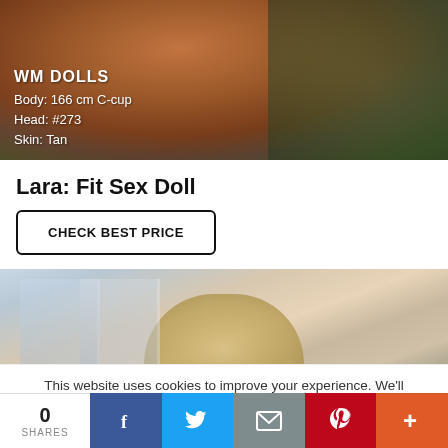[Figure (photo): Close-up photo of a doll's legs and torso with text overlay showing WM DOLLS, Body: 166 cm C-cup, Head: #273, Skin: Tan]
Lara: Fit Sex Doll
CHECK BEST PRICE
[Figure (photo): Partial photo of a blonde doll near a window with blurred outdoor background]
This website uses cookies to improve your experience. We'll assume you're ok with this, but you can opt-out if you wish.
0 SHARES | Facebook | Twitter | Email | Pinterest | More